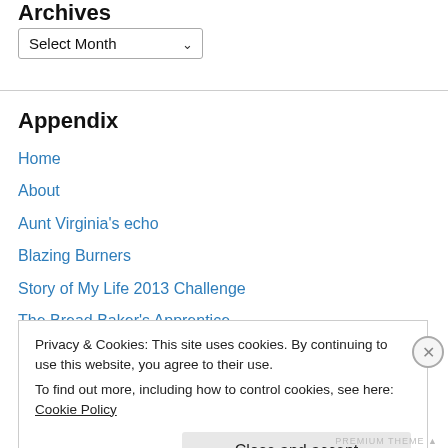Archives
Select Month
Appendix
Home
About
Aunt Virginia's echo
Blazing Burners
Story of My Life 2013 Challenge
The Bread Baker's Apprentice
The Daring Baker's Challenge
Privacy & Cookies: This site uses cookies. By continuing to use this website, you agree to their use.
To find out more, including how to control cookies, see here: Cookie Policy
Close and accept